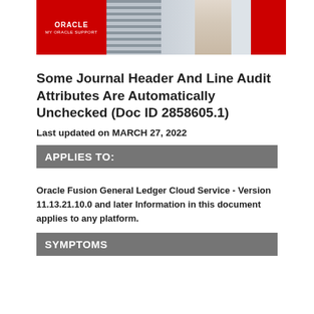[Figure (logo): Oracle My Oracle Support banner with red logo area on left, server room photo in center, red block on right]
Some Journal Header And Line Audit Attributes Are Automatically Unchecked (Doc ID 2858605.1)
Last updated on MARCH 27, 2022
APPLIES TO:
Oracle Fusion General Ledger Cloud Service - Version 11.13.21.10.0 and later Information in this document applies to any platform.
SYMPTOMS